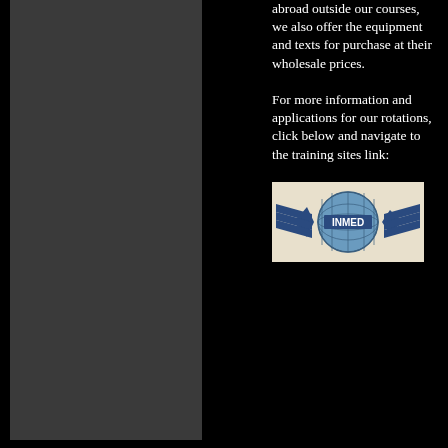[Figure (other): Dark gray rectangular panel on the left side of the page]
abroad outside our courses, we also offer the equipment and texts for purchase at their wholesale prices.
For more information and applications for our rotations, click below and navigate to the training sites link:
[Figure (logo): INMED logo: blue diamond shapes flanking a globe with grid lines, text INMED on the globe, on a light beige background]